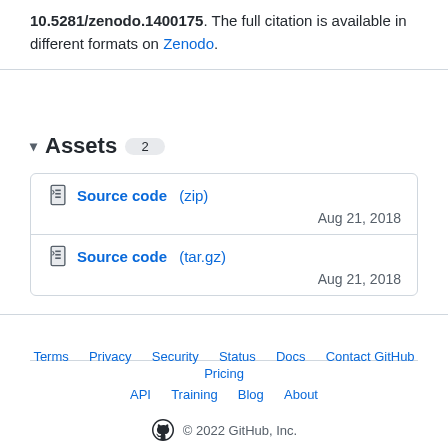10.5281/zenodo.1400175. The full citation is available in different formats on Zenodo.
▾ Assets 2
Source code (zip) — Aug 21, 2018
Source code (tar.gz) — Aug 21, 2018
Terms · Privacy · Security · Status · Docs · Contact GitHub · Pricing · API · Training · Blog · About · © 2022 GitHub, Inc.